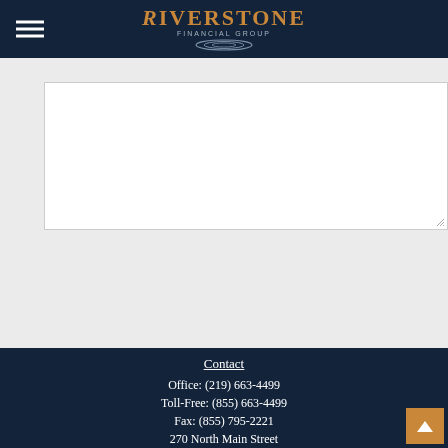Riverstone Financial Group
[Figure (screenshot): Empty text area input box for message form]
[Figure (screenshot): SEND button with orange border and text]
Contact
Office: (219) 663-4499
Toll-Free: (855) 663-4499
Fax: (855) 795-2221
270 North Main Street